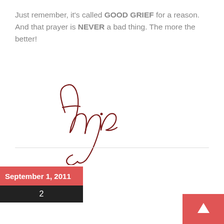Just remember, it's called GOOD GRIEF for a reason. And that prayer is NEVER a bad thing. The more the better!
[Figure (illustration): Cursive signature reading 'Angie' in dark red/maroon ink]
September 1, 2011
2